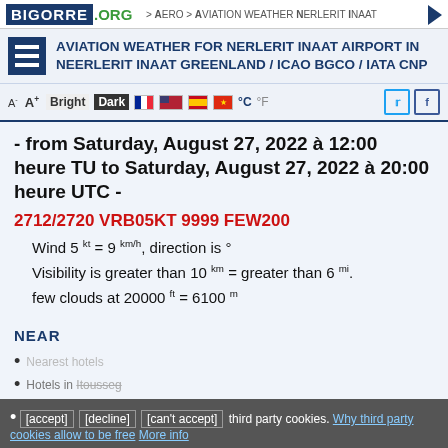BIGORRE .ORG > AERO > AVIATION WEATHER NERLERIT INAAT
Aviation weather for Nerlerit Inaat airport in Neerlerit Inaat Greenland / ICAO BGCO / IATA CNP
A- A+ Bright Dark °C °F
- from Saturday, August 27, 2022 à 12:00 heure TU to Saturday, August 27, 2022 à 20:00 heure UTC -
2712/2720 VRB05KT 9999 FEW200
Wind 5 kt = 9 km/h, direction is °
Visibility is greater than 10 km = greater than 6 mi.
few clouds at 20000 ft = 6100 m
NEAR
[accept] [decline] [can't accept] third party cookies. Why third party cookies allow to be free More info